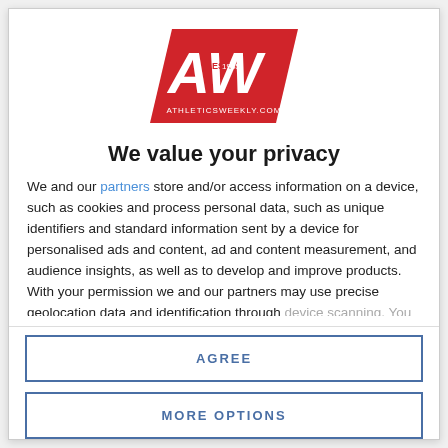[Figure (logo): Athletics Weekly (AW) logo — red trapezoid shape with white 'AW' letters and 'ATHLETICSWEEKLY.COM' text below]
We value your privacy
We and our partners store and/or access information on a device, such as cookies and process personal data, such as unique identifiers and standard information sent by a device for personalised ads and content, ad and content measurement, and audience insights, as well as to develop and improve products. With your permission we and our partners may use precise geolocation data and identification through device scanning. You may click to consent to our and our partners'
AGREE
MORE OPTIONS